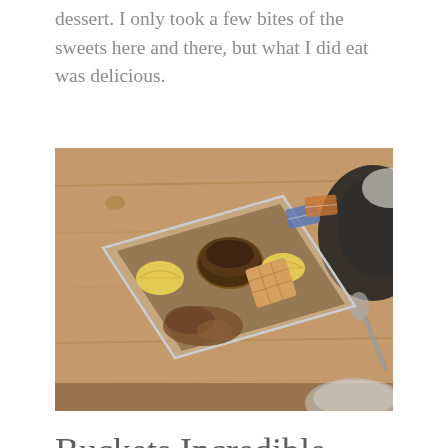dessert. I only took a few bites of the sweets here and there, but what I did eat was delicious.
[Figure (photo): Overhead photo of a rectangular glass tray containing dessert items including lemon wedges, cookies or biscuits, and a small bowl of sauce/dip, placed on a wooden table. Other dishes and utensils are partially visible around the edges.]
Buckets Incredible Craveables
Buckets is located just inside the